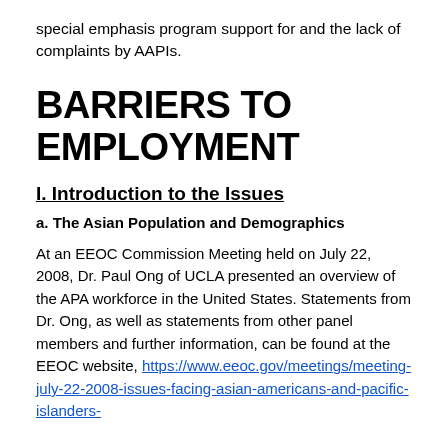special emphasis program support for and the lack of complaints by AAPIs.
BARRIERS TO EMPLOYMENT
I. Introduction to the Issues
a. The Asian Population and Demographics
At an EEOC Commission Meeting held on July 22, 2008, Dr. Paul Ong of UCLA presented an overview of the APA workforce in the United States. Statements from Dr. Ong, as well as statements from other panel members and further information, can be found at the EEOC website, https://www.eeoc.gov/meetings/meeting-july-22-2008-issues-facing-asian-americans-and-pacific-islanders-